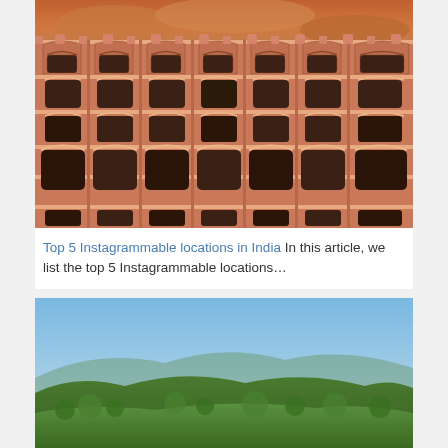[Figure (photo): Close-up photo of Hawa Mahal (Palace of Winds) in Jaipur, India — a pink sandstone facade with numerous small arched windows and ornate honeycomb-like architecture, against a dramatic orange-tinged sky.]
Top 5 Instagrammable locations in India In this article, we list the top 5 Instagrammable locations…
[Figure (photo): Aerial or elevated landscape photo showing green rolling hills or countryside with a blue sky and mountains in the background.]